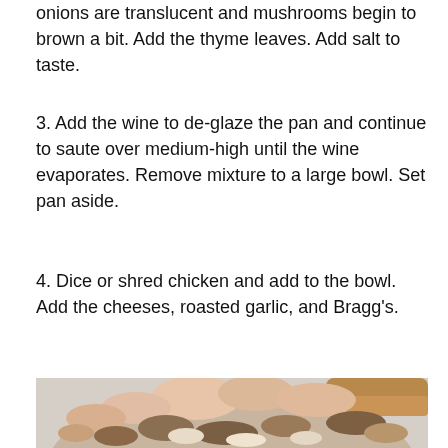onions are translucent and mushrooms begin to brown a bit. Add the thyme leaves. Add salt to taste.
3. Add the wine to de-glaze the pan and continue to saute over medium-high until the wine evaporates. Remove mixture to a large bowl. Set pan aside.
4. Dice or shred chicken and add to the bowl. Add the cheeses, roasted garlic, and Bragg's.
[Figure (photo): A glass bowl containing diced or shredded chicken mixed with sautéed mushrooms and onions, with a wooden spoon resting on top of the mixture.]